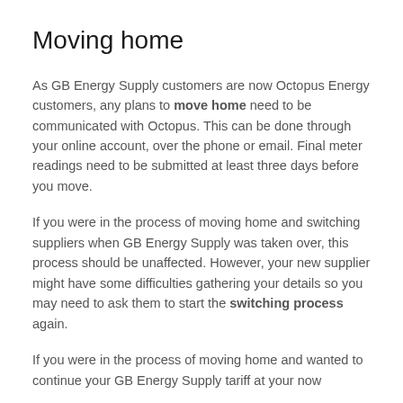Moving home
As GB Energy Supply customers are now Octopus Energy customers, any plans to move home need to be communicated with Octopus. This can be done through your online account, over the phone or email. Final meter readings need to be submitted at least three days before you move.
If you were in the process of moving home and switching suppliers when GB Energy Supply was taken over, this process should be unaffected. However, your new supplier might have some difficulties gathering your details so you may need to ask them to start the switching process again.
If you were in the process of moving home and wanted to continue your GB Energy Supply tariff at your now